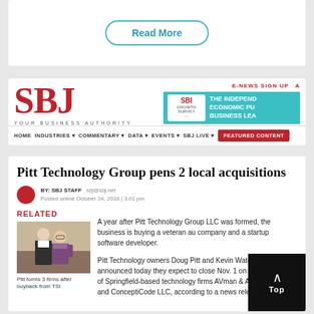[Figure (screenshot): Read More button with teal rounded border]
[Figure (logo): SBJ (Springfield Business Journal) logo with tagline YOUR BUSINESS AUTHORITY and navigation bar]
[Figure (infographic): SBJ Growth Survey advertisement banner in teal]
Pitt Technology Group pens 2 local acquisitions
BY: SBJ STAFF   sbj@sbj.net
Posted online October 24, 2018 | 3:01 pm
RELATED
[Figure (photo): Two men posing for a photo, related article image]
Pitt forms 3 firms after buyback from TSI
A year after Pitt Technology Group LLC was formed, the business is buying a veteran au company and a startup software developer.
Pitt Technology owners Doug Pitt and Kevin Waterland announced today they expect to close Nov. 1 on the acquisition of Springfield-based technology firms AVman & Associates Ltd. and ConceptiCode LLC, according to a news release.